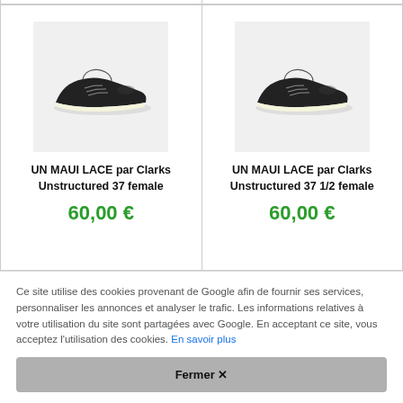[Figure (photo): Black sneaker shoe (UN MAUI LACE par Clarks Unstructured 37 female) on gray background]
UN MAUI LACE par Clarks Unstructured 37 female
60,00 €
[Figure (photo): Black sneaker shoe (UN MAUI LACE par Clarks Unstructured 37 1/2 female) on gray background]
UN MAUI LACE par Clarks Unstructured 37 1/2 female
60,00 €
Ce site utilise des cookies provenant de Google afin de fournir ses services, personnaliser les annonces et analyser le trafic. Les informations relatives à votre utilisation du site sont partagées avec Google. En acceptant ce site, vous acceptez l'utilisation des cookies. En savoir plus
Fermer ✕